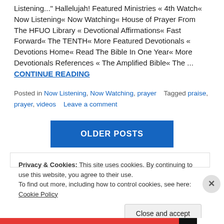Listening..." Hallelujah! Featured Ministries « 4th Watch« Now Listening« Now Watching« House of Prayer From The HFUO Library « Devotional Affirmations« Fast Forward« The TENTH« More Featured Devotionals « Devotions Home« Read The Bible In One Year« More Devotionals References « The Amplified Bible« The ... CONTINUE READING
Posted in Now Listening, Now Watching, prayer   Tagged praise, prayer, videos   Leave a comment
OLDER POSTS
Privacy & Cookies: This site uses cookies. By continuing to use this website, you agree to their use.
To find out more, including how to control cookies, see here: Cookie Policy
Close and accept